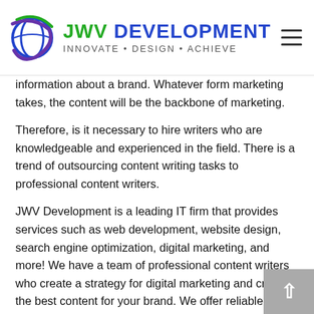JWV DEVELOPMENT INNOVATE • DESIGN • ACHIEVE
information about a brand. Whatever form marketing takes, the content will be the backbone of marketing.
Therefore, is it necessary to hire writers who are knowledgeable and experienced in the field. There is a trend of outsourcing content writing tasks to professional content writers.
JWV Development is a leading IT firm that provides services such as web development, website design, search engine optimization, digital marketing, and more! We have a team of professional content writers who create a strategy for digital marketing and create the best content for your brand. We offer reliable content writing services well within deadlines!